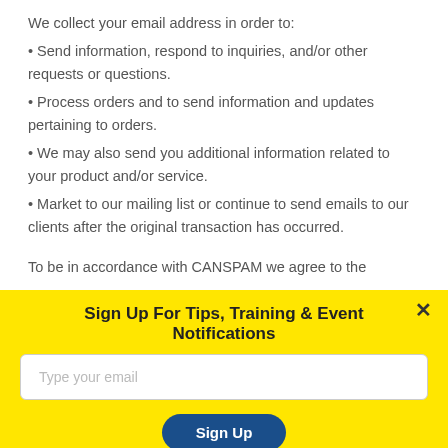We collect your email address in order to:
• Send information, respond to inquiries, and/or other requests or questions.
• Process orders and to send information and updates pertaining to orders.
• We may also send you additional information related to your product and/or service.
• Market to our mailing list or continue to send emails to our clients after the original transaction has occurred.
To be in accordance with CANSPAM we agree to the
Sign Up For Tips, Training & Event Notifications
Type your email
Sign Up